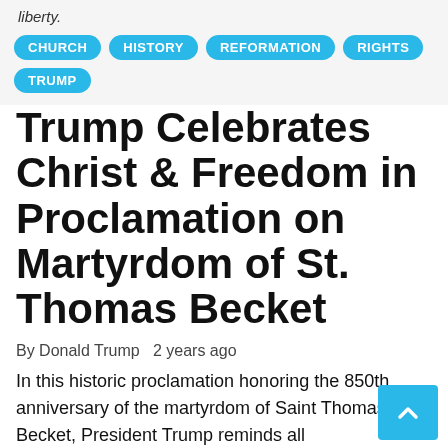liberty.
CHURCH
HISTORY
REFORMATION
RIGHTS
TRUMP
Trump Celebrates Christ & Freedom in Proclamation on Martyrdom of St. Thomas Becket
By Donald Trump  2 years ago
In this historic proclamation honoring the 850th anniversary of the martyrdom of Saint Thomas Becket, President Trump reminds all